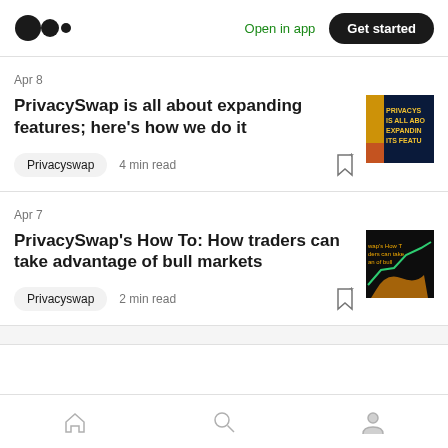Medium logo | Open in app | Get started
Apr 8
PrivacySwap is all about expanding features; here's how we do it
Privacyswap · 4 min read
[Figure (photo): Article thumbnail for PrivacySwap expanding features article, dark blue background with yellow accent and text]
Apr 7
PrivacySwap's How To: How traders can take advantage of bull markets
Privacyswap · 2 min read
[Figure (photo): Article thumbnail for PrivacySwap bull markets article, dark background with green line chart and bull silhouette]